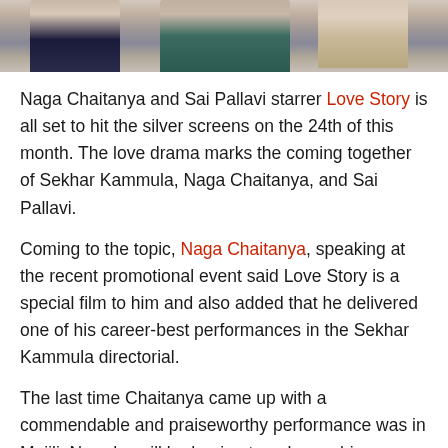[Figure (photo): Photo showing people at what appears to be a promotional event, cropped to show lower body/partial view of three individuals standing together]
Naga Chaitanya and Sai Pallavi starrer Love Story is all set to hit the silver screens on the 24th of this month. The love drama marks the coming together of Sekhar Kammula, Naga Chaitanya, and Sai Pallavi.
Coming to the topic, Naga Chaitanya, speaking at the recent promotional event said Love Story is a special film to him and also added that he delivered one of his career-best performances in the Sekhar Kammula directorial.
The last time Chaitanya came up with a commendable and praiseworthy performance was in Majili. Now, he will be hoping to enhance his reputation as an actor with Fidaa.